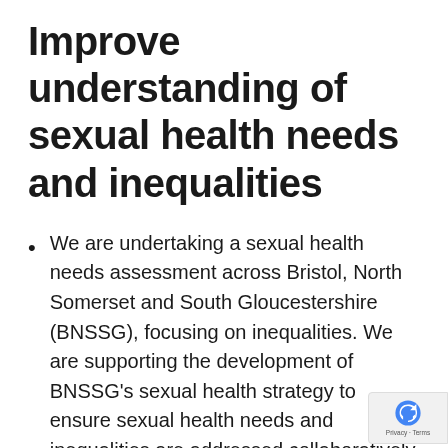Improve understanding of sexual health needs and inequalities
We are undertaking a sexual health needs assessment across Bristol, North Somerset and South Gloucestershire (BNSSG), focusing on inequalities. We are supporting the development of BNSSG's sexual health strategy to ensure sexual health needs and inequalities are addressed collaboratively.
We are working across the system to find...